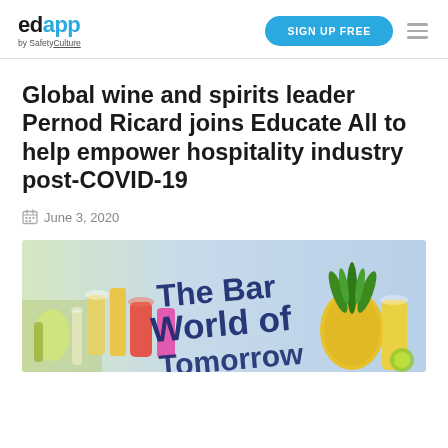edapp by SafetyCulture | SIGN UP FREE
Global wine and spirits leader Pernod Ricard joins Educate All to help empower hospitality industry post-COVID-19
June 3, 2020
[Figure (photo): Photo of cocktail drinks and a pineapple with 'The Bar World of Tomorrow' text overlay in blue handwritten style font]